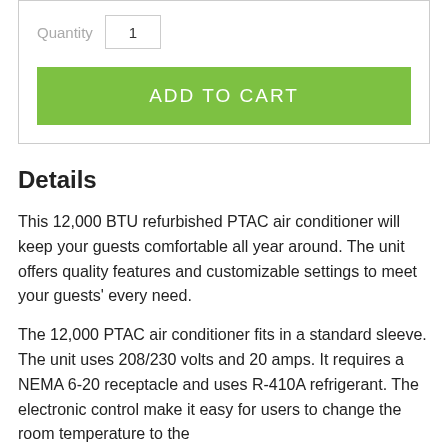Quantity  1
ADD TO CART
Details
This 12,000 BTU refurbished PTAC air conditioner will keep your guests comfortable all year around. The unit offers quality features and customizable settings to meet your guests' every need.
The 12,000 PTAC air conditioner fits in a standard sleeve. The unit uses 208/230 volts and 20 amps. It requires a NEMA 6-20 receptacle and uses R-410A refrigerant. The electronic control make it easy for users to change the room temperature to the